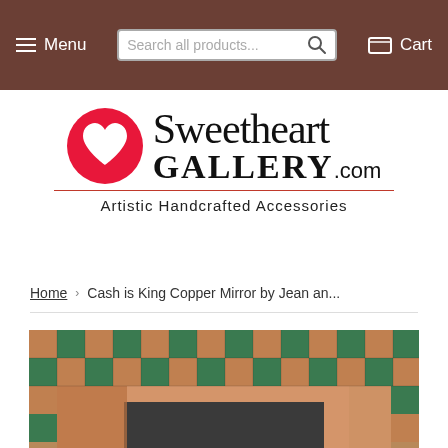Menu  Search all products...  Cart
[Figure (logo): Sweetheart Gallery.com logo with red heart icon and tagline 'Artistic Handcrafted Accessories']
Home  ›  Cash is King Copper Mirror by Jean an...
[Figure (photo): Cash is King Copper Mirror — decorative mirror with checkerboard pattern of copper and green tiles forming the frame, with a dark reflective center]